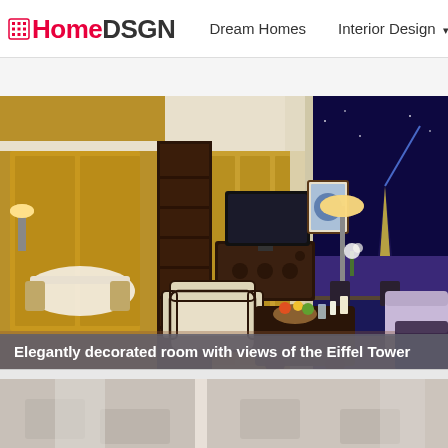HomeDSGN | Dream Homes | Interior Design | Hou
[Figure (photo): Elegantly decorated luxury hotel room with warm wood-paneled walls, a cream armchair, dark wood console with television, coffee table with fruit and candles, and a floor-to-ceiling glass wall opening to a terrace with a nighttime view of the illuminated Eiffel Tower in Paris.]
Elegantly decorated room with views of the Eiffel Tower
[Figure (photo): Partial view of a second interior room photo, showing light-colored furnishings in a bright space.]